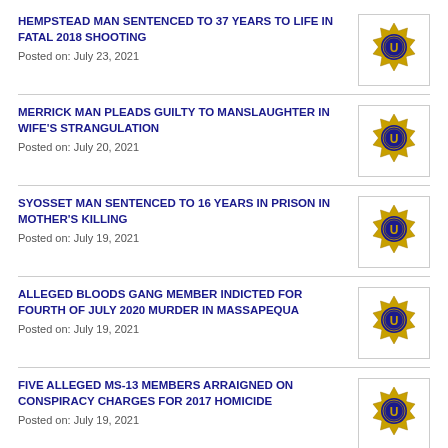HEMPSTEAD MAN SENTENCED TO 37 YEARS TO LIFE IN FATAL 2018 SHOOTING
Posted on: July 23, 2021
MERRICK MAN PLEADS GUILTY TO MANSLAUGHTER IN WIFE'S STRANGULATION
Posted on: July 20, 2021
SYOSSET MAN SENTENCED TO 16 YEARS IN PRISON IN MOTHER'S KILLING
Posted on: July 19, 2021
ALLEGED BLOODS GANG MEMBER INDICTED FOR FOURTH OF JULY 2020 MURDER IN MASSAPEQUA
Posted on: July 19, 2021
FIVE ALLEGED MS-13 MEMBERS ARRAIGNED ON CONSPIRACY CHARGES FOR 2017 HOMICIDE
Posted on: July 19, 2021